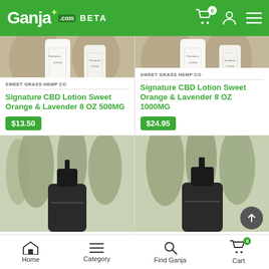Ganja.com BETA
[Figure (photo): Product photo of Sweet Grass Hemp Co CBD Lotion bottles on wooden surface]
SWEET GRASS HEMP CO
Signature CBD Lotion Sweet Orange & Lavender 8 OZ 500MG
$13.50
[Figure (photo): Product photo of Sweet Grass Hemp Co CBD Lotion bottles on wooden surface]
SWEET GRASS HEMP CO
Signature CBD Lotion Sweet Orange & Lavender 8 OZ 1000MG
$24.95
[Figure (photo): Partial product photo with pump bottle outdoors with trees]
[Figure (photo): Partial product photo with pump bottle outdoors with trees]
Home  Category  Find Ganja  Cart